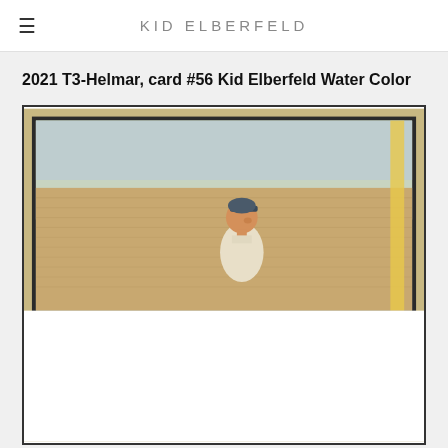KID ELBERFELD
2021 T3-Helmar, card #56 Kid Elberfeld Water Color
[Figure (photo): Watercolor trading card showing Kid Elberfeld, a baseball player wearing a cap, set against a field background with a decorative tan/gold border frame. The card is partially visible — the top portion showing the player from approximately the shoulders up.]